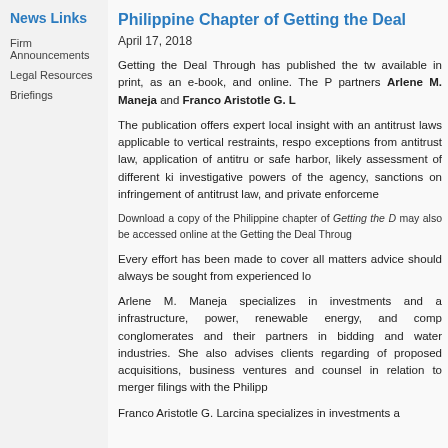News Links
Firm Announcements
Legal Resources
Briefings
Philippine Chapter of Getting the Deal Through – Vertical Agreements (2018)
April 17, 2018
Getting the Deal Through has published the twelfth edition of Vertical Agreements, available in print, as an e-book, and online. The Philippine chapter was written by partners Arlene M. Maneja and Franco Aristotle G. Larcina.
The publication offers expert local insight with analysis of antitrust laws applicable to vertical restraints, responses on exceptions from antitrust law, application of antitrust exemptions or safe harbor, likely assessment of different kinds of agreements, investigative powers of the agency, sanctions on infringement of antitrust law, and private enforcement.
Download a copy of the Philippine chapter of Getting the Deal Through. It may also be accessed online at the Getting the Deal Through website.
Every effort has been made to cover all matters of concern but advice should always be sought from experienced local counsel.
Arlene M. Maneja specializes in investments and acquisitions in infrastructure, power, renewable energy, and competition law. She advises conglomerates and their partners in bidding and investments in power and water industries. She also advises clients regarding the regulatory aspects of proposed acquisitions, business ventures and mergers and serves as counsel in relation to merger filings with the Philippine Competition Commission.
Franco Aristotle G. Larcina specializes in investments and acquisitions...